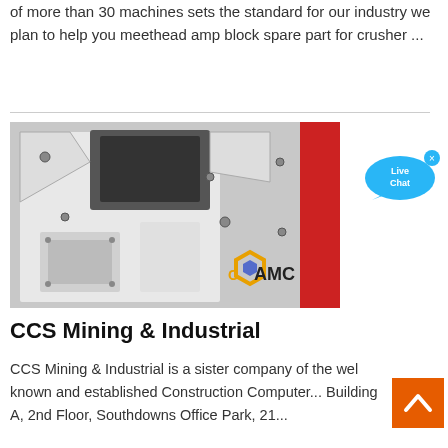of more than 30 machines sets the standard for our industry we plan to help you meethead amp block spare part for crusher ...
[Figure (photo): Close-up photo of industrial crushing machine components, white and red metal parts with bolts and structural frames. AMC logo visible in lower right area of the image.]
[Figure (infographic): Live Chat button — blue chat bubble with text 'Live Chat' and a small X close button.]
CCS Mining & Industrial
CCS Mining & Industrial is a sister company of the well known and established Construction Computer... Building A, 2nd Floor, Southdowns Office Park, 21...
[Figure (infographic): Orange back-to-top button with upward chevron arrow icon.]